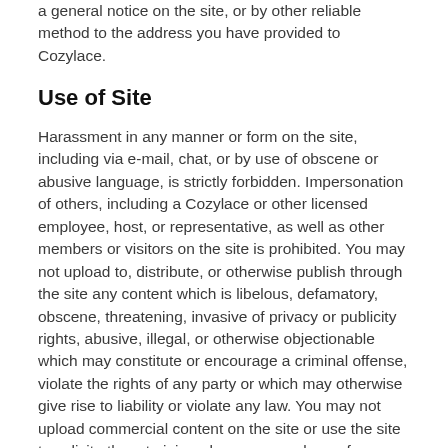a general notice on the site, or by other reliable method to the address you have provided to Cozylace.
Use of Site
Harassment in any manner or form on the site, including via e-mail, chat, or by use of obscene or abusive language, is strictly forbidden. Impersonation of others, including a Cozylace or other licensed employee, host, or representative, as well as other members or visitors on the site is prohibited. You may not upload to, distribute, or otherwise publish through the site any content which is libelous, defamatory, obscene, threatening, invasive of privacy or publicity rights, abusive, illegal, or otherwise objectionable which may constitute or encourage a criminal offense, violate the rights of any party or which may otherwise give rise to liability or violate any law. You may not upload commercial content on the site or use the site to solicit others to join or become members of any other commercial online service or other organization.
Participation Disclaimer
Cozylace does not and cannot review all